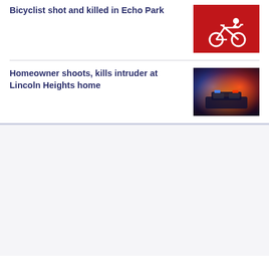Bicyclist shot and killed in Echo Park
[Figure (photo): Red bicycle lane marking with bike icon on asphalt]
Homeowner shoots, kills intruder at Lincoln Heights home
[Figure (photo): Police emergency lights blue and red in the dark]